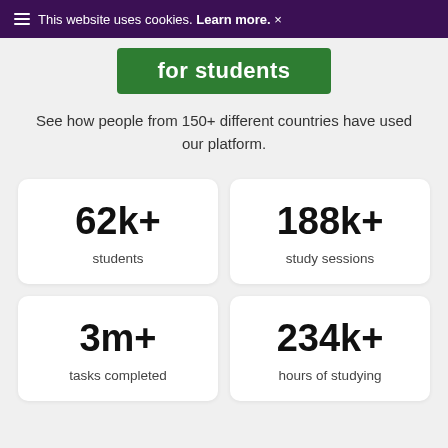This website uses cookies. Learn more. ×
for students
See how people from 150+ different countries have used our platform.
62k+ students
188k+ study sessions
3m+ tasks completed
234k+ hours of studying